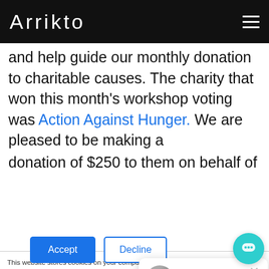Arrikto
and help guide our monthly donation to charitable causes. The charity that won this month's workshop voting was Action Against Hunger. We are pleased to be making a donation of $250 to them on behalf of the
This website stores cookies on your computer. These cookies are used to improve your experience and provide more personalized service to you, both on this website and through other media. To find out more about the cookies we use, see our Privacy Policy.

We track your information to improve your performance, quality of our site and your needs. In order to comply with your preferences, we'll have to use just one tiny cookie so that you're not asked to make this choice again.
We just launched Kubeflow as a Service! Deploy a Kubeflow pipeline in minutes, for free. I can help!
Accept
Decline